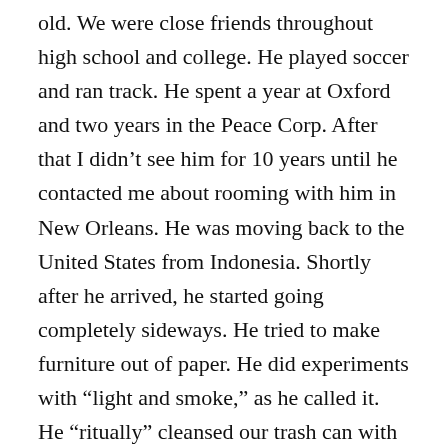old. We were close friends throughout high school and college. He played soccer and ran track. He spent a year at Oxford and two years in the Peace Corp. After that I didn't see him for 10 years until he contacted me about rooming with him in New Orleans. He was moving back to the United States from Indonesia. Shortly after he arrived, he started going completely sideways. He tried to make furniture out of paper. He did experiments with “light and smoke,” as he called it. He “ritually” cleansed our trash can with incense. He stopped using his right hand. He believed that if he trained himself to only use his left hand it would open up a higher range of cognitive ability. There might be something to this. I suggested he wear a blindfold